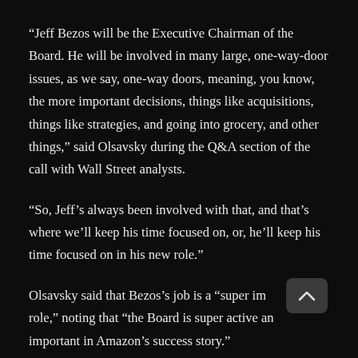“Jeff Bezos will be the Executive Chairman of the Board. He will be involved in many large, one-way-door issues, as we say, one-way doors, meaning, you know, the more important decisions, things like acquisitions, things like strategies, and going into grocery, and other things,” said Olsavsky during the Q&A section of the call with Wall Street analysts.
“So, Jeff’s always been involved with that, and that’s where we’ll keep his time focused on, or, he’ll keep his time focused on in his new role.”
Olsavsky said that Bezos’s job is a “super important role,” noting that “the Board is super active and important in Amazon’s success story.”